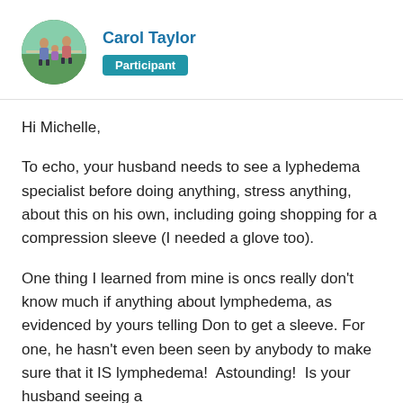[Figure (photo): Circular profile photo of Carol Taylor showing a person standing outdoors in a green field]
Carol Taylor
Participant
Hi Michelle,
To echo, your husband needs to see a lyphedema specialist before doing anything, stress anything, about this on his own, including going shopping for a compression sleeve (I needed a glove too).
One thing I learned from mine is oncs really don't know much if anything about lymphedema, as evidenced by yours telling Don to get a sleeve. For one, he hasn't even been seen by anybody to make sure that it IS lymphedema!  Astounding!  Is your husband seeing a